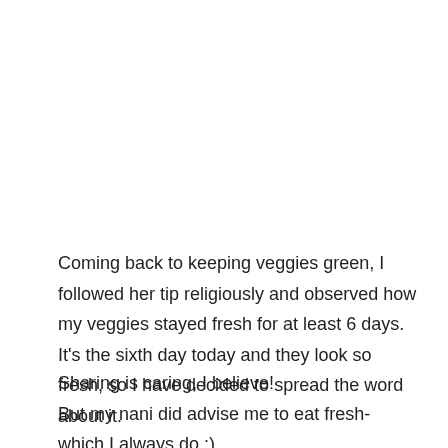Coming back to keeping veggies green, I followed her tip religiously and observed how my veggies stayed fresh for at least 6 days. It's the sixth day today and they look so fresh, so I have decided to spread the word about it.
Sharing is caring, I believe!
But my nani did advise me to eat fresh- which I always do :)
Now this trick to keep greens fresh does work and is surely a bonus.